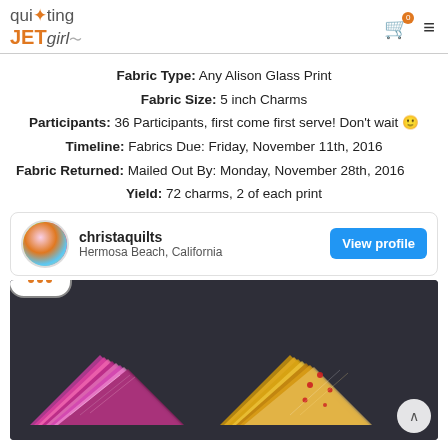quilting JETgirl
Fabric Type: Any Alison Glass Print
Fabric Size: 5 inch Charms
Participants: 36 Participants, first come first serve! Don't wait 🙂
Timeline: Fabrics Due: Friday, November 11th, 2016
Fabric Returned: Mailed Out By: Monday, November 28th, 2016
Yield: 72 charms, 2 of each print
christaquilts
Hermosa Beach, California
[Figure (photo): Stacked fabric charm squares - pink/magenta prints on the left and yellow/golden prints on the right, photographed on a dark background]